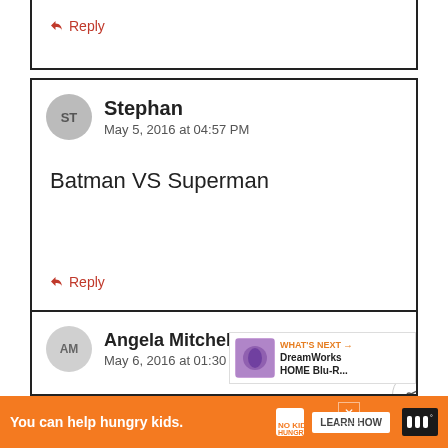Reply (top partial comment)
Stephan
May 5, 2016 at 04:57 PM
Batman VS Superman
Reply
Angela Mitchell
May 6, 2016 at 01:30 AM
I enjoyed the new Star Wars movie.
WHAT'S NEXT → DreamWorks HOME Blu-R...
You can help hungry kids. NO KID HUNGRY LEARN HOW